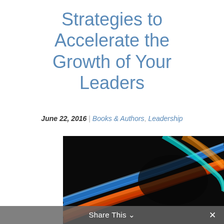Strategies to Accelerate the Growth of Your Leaders
June 22, 2016 | Books & Authors, Leadership
[Figure (photo): Abstract long-exposure photo of colorful light streaks — blue, orange, red, and teal — on a black background, suggesting motion and acceleration.]
Share This